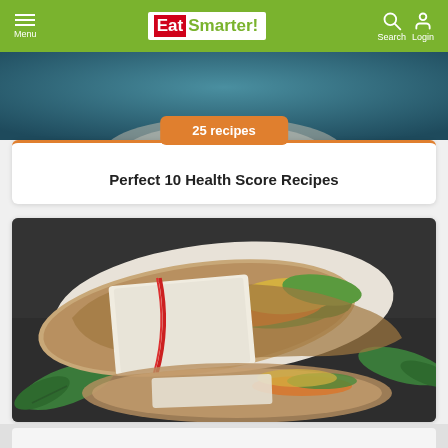EatSmarter! — Menu | Search | Login
[Figure (photo): Partial view of a food dish at the top of the page, blueish background]
25 recipes
Perfect 10 Health Score Recipes
[Figure (photo): Photo of two whole wheat wraps filled with spinach, carrots, scrambled egg and vegetables, wrapped in parchment paper with red twine, on a dark slate surface with fresh basil leaves]